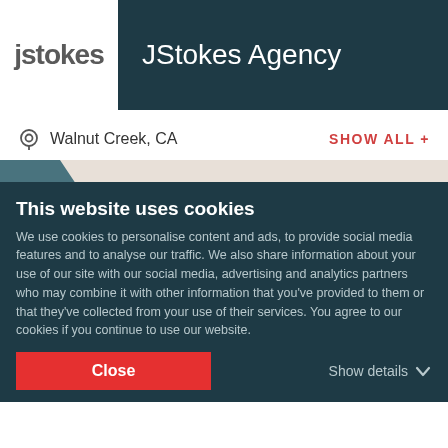JStokes Agency
Walnut Creek, CA
SHOW ALL +
[Figure (map): Map showing northern California region with cities Santa Rosa, Sacramento, Stockton, and Oakland marked. A red dot marks the Oakland/Walnut Creek area. Interstate 80 highway marker visible.]
This website uses cookies
We use cookies to personalise content and ads, to provide social media features and to analyse our traffic. We also share information about your use of our site with our social media, advertising and analytics partners who may combine it with other information that you've provided to them or that they've collected from your use of their services. You agree to our cookies if you continue to use our website.
Close
Show details